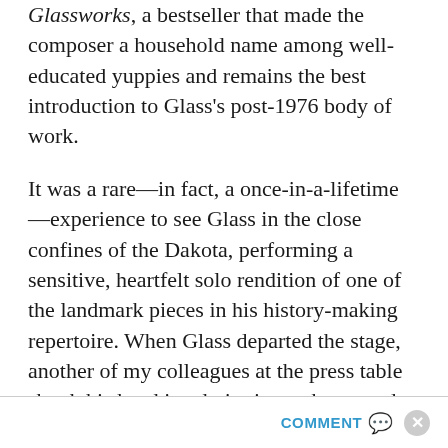Glassworks, a bestseller that made the composer a household name among well-educated yuppies and remains the best introduction to Glass's post-1976 body of work.
It was a rare—in fact, a once-in-a-lifetime—experience to see Glass in the close confines of the Dakota, performing a sensitive, heartfelt solo rendition of one of the landmark pieces in his history-making repertoire. When Glass departed the stage, another of my colleagues at the press table shook his head in admiration as he started to think about what he might say. “How,” he asked rhetorically, “do you even find the words?”
COMMENT ✉ ✕